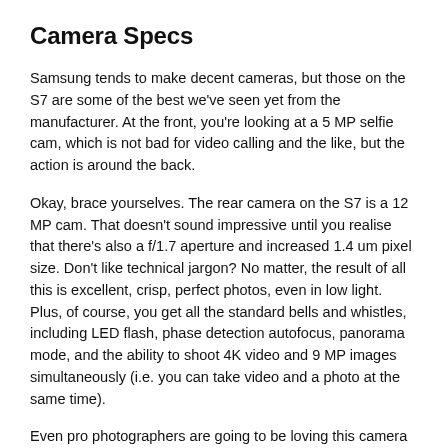Camera Specs
Samsung tends to make decent cameras, but those on the S7 are some of the best we've seen yet from the manufacturer. At the front, you're looking at a 5 MP selfie cam, which is not bad for video calling and the like, but the action is around the back.
Okay, brace yourselves. The rear camera on the S7 is a 12 MP cam. That doesn't sound impressive until you realise that there's also a f/1.7 aperture and increased 1.4 um pixel size. Don't like technical jargon? No matter, the result of all this is excellent, crisp, perfect photos, even in low light. Plus, of course, you get all the standard bells and whistles, including LED flash, phase detection autofocus, panorama mode, and the ability to shoot 4K video and 9 MP images simultaneously (i.e. you can take video and a photo at the same time).
Even pro photographers are going to be loving this camera set, it snaps some of the best shots around. And if you're not a pro, not to worry, because it's almost impossible to take a bad picture with the S7.
Special Features